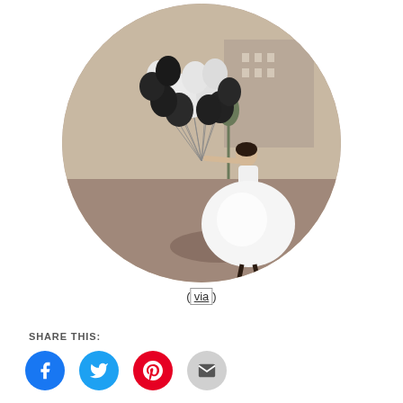[Figure (photo): A woman in a white wedding dress holds a large bunch of black and white balloons on an urban plaza. The photo is cropped in a circular frame. Sepia/warm tones. City buildings visible in background.]
(via)
SHARE THIS: